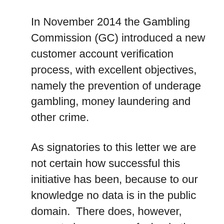In November 2014 the Gambling Commission (GC) introduced a new customer account verification process, with excellent objectives, namely the prevention of underage gambling, money laundering and other crime.
As signatories to this letter we are not certain how successful this initiative has been, because to our knowledge no data is in the public domain.  There does, however, seem to be some confusion in the gambling community as to how it is being implemented 18-20 months on.  Our concerns are based on feedback from customers, bettors, punters, gamblers, whatever term you wish to choose.
In early 2015 it soon became apparent that bookmakers are interpreting the new guidelines in differing